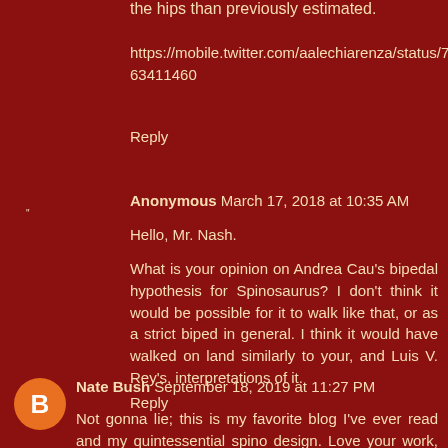the hips than previously estimated.
https://mobile.twitter.com/aalechiarenza/status/768756785163411460
Reply
Anonymous  March 17, 2018 at 10:35 AM
Hello, Mr. Nash.
What is your opinion on Andrea Cau's bipedal hypothesis for Spinosaurus? I don't think it would be possible for it to walk like that, or as a strict biped in general. I think it would have walked on land similarly to your, and Luis V. Rey's, interpretations of it.
Reply
Nate Bush  September 18, 2019 at 11:27 PM
Not gonna lie; this is my favorite blog I've ever read and my quintessential spino design. Love your work, man :)